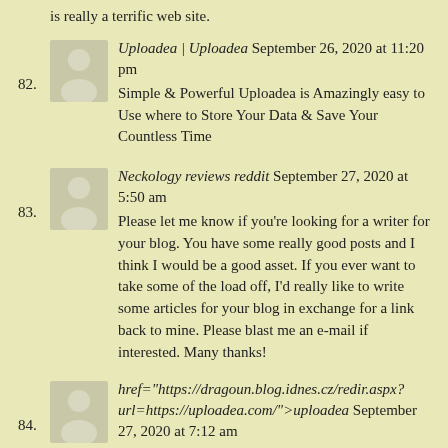is really a terrific web site.
82. Uploadea | Uploadea September 26, 2020 at 11:20 pm
Simple & Powerful Uploadea is Amazingly easy to Use where to Store Your Data & Save Your Countless Time
83. Neckology reviews reddit September 27, 2020 at 5:50 am
Please let me know if you're looking for a writer for your blog. You have some really good posts and I think I would be a good asset. If you ever want to take some of the load off, I'd really like to write some articles for your blog in exchange for a link back to mine. Please blast me an e-mail if interested. Many thanks!
84. href="https://dragoun.blog.idnes.cz/redir.aspx?url=https://uploadea.com/">uploadea September 27, 2020 at 7:12 am
Simple & Powerful Uploadea is Amazingly easy to Use where to Store Your Data & Save Your Countless Time